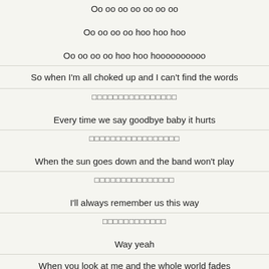Oo oo oo oo oo oo oo
Oo oo oo oo hoo hoo hoo
Oo oo oo oo hoo hoo hoooooooooo
So when I'm all choked up and I can't find the words
□□□□□□□□□□□□□□□□
Every time we say goodbye baby it hurts
□□□□□□□□□□□□□□□□□
When the sun goes down and the band won't play
□□□□□□□□□□□□□□□
I'll always remember us this way
□□□□□□□□□□□□
Way yeah
When you look at me and the whole world fades
□□□□□□□□□□□□□□□□□□□□□□□□
I'll always remember us this way
□□□□□□□□□□□□□